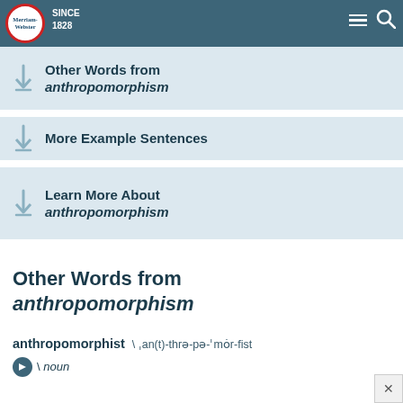[Figure (screenshot): Merriam-Webster logo and navigation header]
Other Words from anthropomorphism
More Example Sentences
Learn More About anthropomorphism
Other Words from anthropomorphism
anthropomorphist \ ˌan(t)-thrə-pə-ˈmōr-fist \ noun